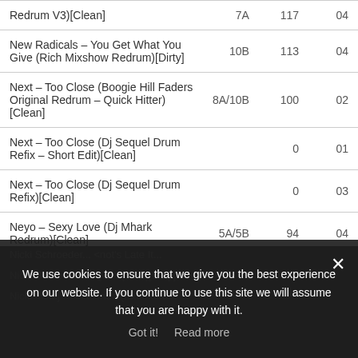| Track | Key | BPM | Time |
| --- | --- | --- | --- |
| Redrum V3)[Clean] | 7A | 117 | 04 |
| New Radicals – You Get What You Give (Rich Mixshow Redrum)[Dirty] | 10B | 113 | 04 |
| Next – Too Close (Boogie Hill Faders Original Redrum – Quick Hitter)[Clean] | 8A/10B | 100 | 02 |
| Next – Too Close (Dj Sequel Drum Refix – Short Edit)[Clean] |  | 0 | 01 |
| Next – Too Close (Dj Sequel Drum Refix)[Clean] |  | 0 | 03 |
| Neyo – Sexy Love (Dj Mhark Redrum)[Clean] | 5A/5B | 94 | 04 |
We use cookies to ensure that we give you the best experience on our website. If you continue to use this site we will assume that you are happy with it.
Got it!   Read more